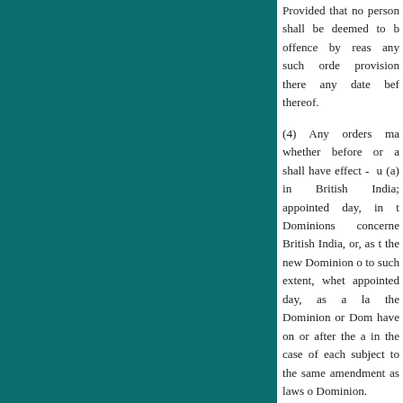Provided that no person shall be deemed to be guilty of any offence by reason of any breach of any such order if he proves that the provision thereof was broken at any date before the appointed day thereof.
(4) Any orders made hereunder, whether before or after the date, shall have effect - upon the appointed day, in the territories of the Dominions concerned as part of British India, or, as the case may be, the new Dominion or Dominions, and to such extent, whether before or after the appointed day, as a law made by the Dominion or Dominions, and shall have on or after the appointed day, in the case of each Dominion, be subject to the same modification and amendment as laws of that Dominion.
(5) No order shall be